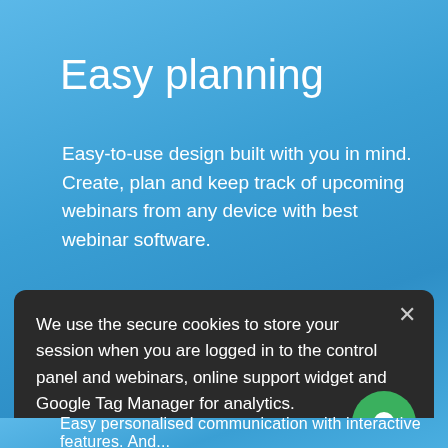Easy planning
Easy-to-use design built with you in mind. Create, plan and keep track of upcoming webinars from any device with best webinar software.
No more boring emails
We use the secure cookies to store your session when you are logged in to the control panel and webinars, online support widget and Google Tag Manager for analytics.
Learn more how we use cookies